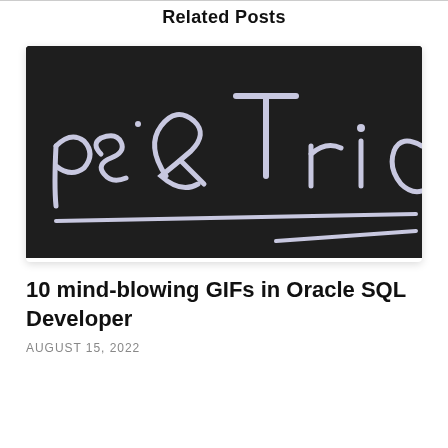Related Posts
[Figure (photo): Blackboard with handwritten text reading 'ps & Tric' (Tips & Tricks), white chalk lettering on dark background]
10 mind-blowing GIFs in Oracle SQL Developer
AUGUST 15, 2022